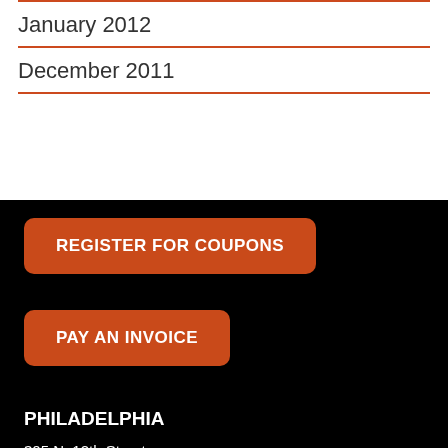January 2012
December 2011
REGISTER FOR COUPONS
PAY AN INVOICE
PHILADELPHIA
305 N. 12th Street
Philadelphia, PA. 19107
215.454.9179